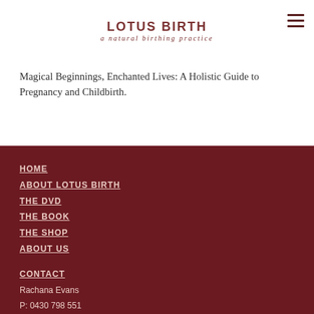LOTUS BIRTH
a natural birthing practice
Magical Beginnings, Enchanted Lives: A Holistic Guide to Pregnancy and Childbirth.
HOME
ABOUT LOTUS BIRTH
THE DVD
THE BOOK
THE SHOP
ABOUT US
CONTACT
Rachana Evans
P: 0430 798 551
E: rachanalotus@gmail.com